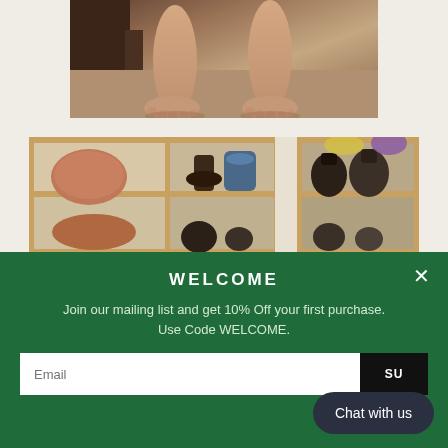[Figure (photo): Person's feet and lower legs on a sandy/clay floor, wooden furniture visible]
[Figure (photo): Wooden shelving unit displaying various ceramic pottery, vases, and decorative items]
WELCOME
Join our mailing list and get 10% Off your first purchase. Use Code WELCOME.
Email
Chat with us